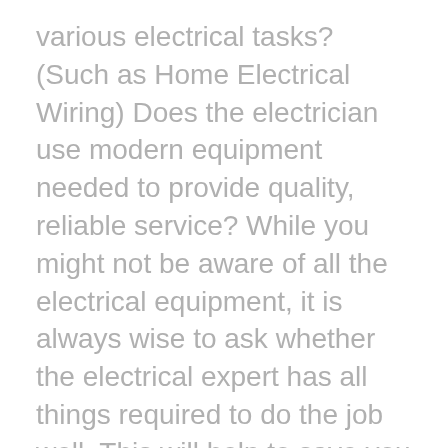various electrical tasks? (Such as Home Electrical Wiring) Does the electrician use modern equipment needed to provide quality, reliable service? While you might not be aware of all the electrical equipment, it is always wise to ask whether the electrical expert has all things required to do the job well. This will help to save you from experiencing further delays or troubles in the job due to the lack of complete materials.
Specific Service: It is important to determine the type of electrician that you require depending on the volume and quality of work you plan to accomplish in your house. Don't forget that not all electricians will be able to do handle all jobs. Some specialise in residential